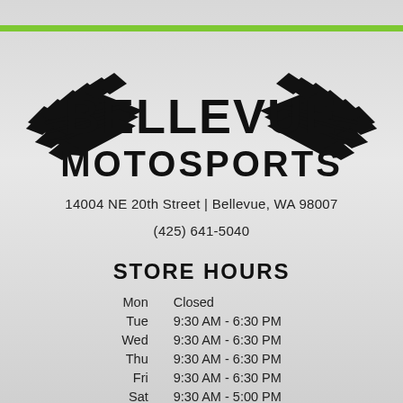[Figure (logo): Bellevue Motosports logo with wings on either side of bold text reading BELLEVUE MOTOSPORTS]
14004 NE 20th Street | Bellevue, WA 98007
(425) 641-5040
STORE HOURS
| Day | Hours |
| --- | --- |
| Mon | Closed |
| Tue | 9:30 AM - 6:30 PM |
| Wed | 9:30 AM - 6:30 PM |
| Thu | 9:30 AM - 6:30 PM |
| Fri | 9:30 AM - 6:30 PM |
| Sat | 9:30 AM - 5:00 PM |
| Sun | Closed |